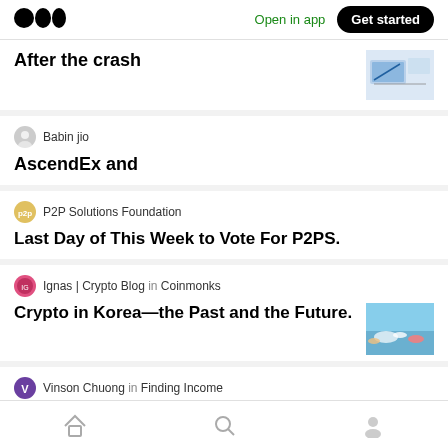Medium logo | Open in app | Get started
After the crash
Babin jio
AscendEx and
P2P Solutions Foundation
Last Day of This Week to Vote For P2PS.
Ignas | Crypto Blog in Coinmonks
Crypto in Korea—the Past and the Future.
Vinson Chuong in Finding Income
Home | Search | Profile